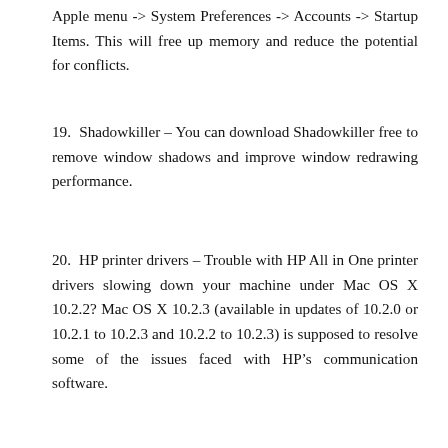Apple menu -> System Preferences -> Accounts -> Startup Items. This will free up memory and reduce the potential for conflicts.
19. Shadowkiller – You can download Shadowkiller free to remove window shadows and improve window redrawing performance.
20. HP printer drivers – Trouble with HP All in One printer drivers slowing down your machine under Mac OS X 10.2.2? Mac OS X 10.2.3 (available in updates of 10.2.0 or 10.2.1 to 10.2.3 and 10.2.2 to 10.2.3) is supposed to resolve some of the issues faced with HP's communication software.
Once you find and remove HP communication software...